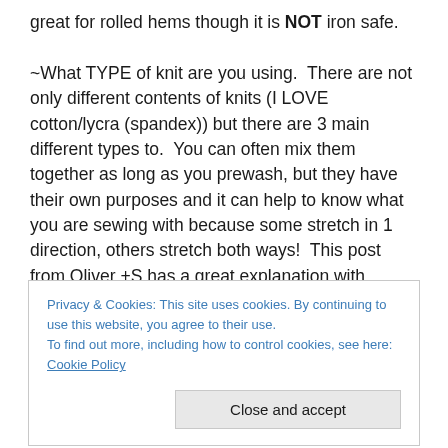great for rolled hems though it is NOT iron safe.

~What TYPE of knit are you using.  There are not only different contents of knits (I LOVE cotton/lycra (spandex)) but there are 3 main different types to.  You can often mix them together as long as you prewash, but they have their own purposes and it can help to know what you are sewing with because some stretch in 1 direction, others stretch both ways!  This post from Oliver +S has a great explanation with pictures… http://oliverands.com/blog/2010/12/some-knit-
Privacy & Cookies: This site uses cookies. By continuing to use this website, you agree to their use.
To find out more, including how to control cookies, see here: Cookie Policy
Close and accept
11 or 10 may be better for light weight knits. The reason